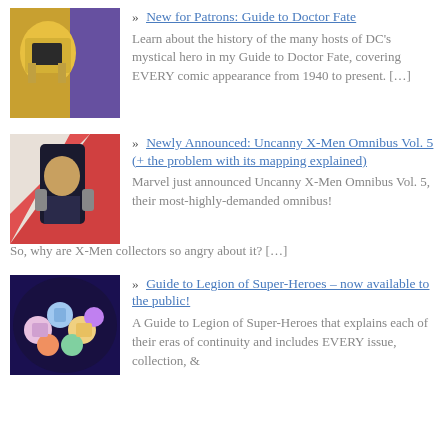[Figure (illustration): Comic book image of Doctor Fate character with yellow helmet and cape]
» New for Patrons: Guide to Doctor Fate
Learn about the history of the many hosts of DC's mystical hero in my Guide to Doctor Fate, covering EVERY comic appearance from 1940 to present. […]
[Figure (illustration): Comic book image featuring X-Men characters with dramatic action pose]
» Newly Announced: Uncanny X-Men Omnibus Vol. 5 (+ the problem with its mapping explained)
Marvel just announced Uncanny X-Men Omnibus Vol. 5, their most-highly-demanded omnibus! So, why are X-Men collectors so angry about it? […]
[Figure (illustration): Comic book image of Legion of Super-Heroes team members]
» Guide to Legion of Super-Heroes – now available to the public!
A Guide to Legion of Super-Heroes that explains each of their eras of continuity and includes EVERY issue, collection, &